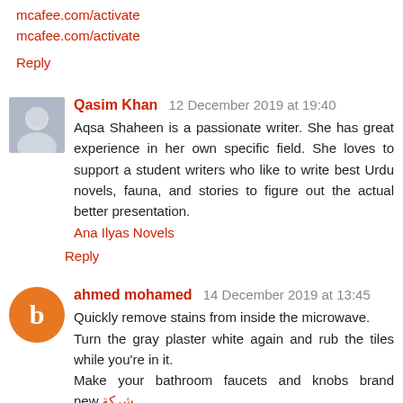mcafee.com/activate
mcafee.com/activate
Reply
Qasim Khan  12 December 2019 at 19:40
Aqsa Shaheen is a passionate writer. She has great experience in her own specific field. She loves to support a student writers who like to write best Urdu novels, fauna, and stories to figure out the actual better presentation.
Ana Ilyas Novels
Reply
ahmed mohamed  14 December 2019 at 13:45
Quickly remove stains from inside the microwave.
Turn the gray plaster white again and rub the tiles while you're in it.
Make your bathroom faucets and knobs brand new.شركة
تنظيف فلل بجدة
شركة تنظيف سوت بجدة